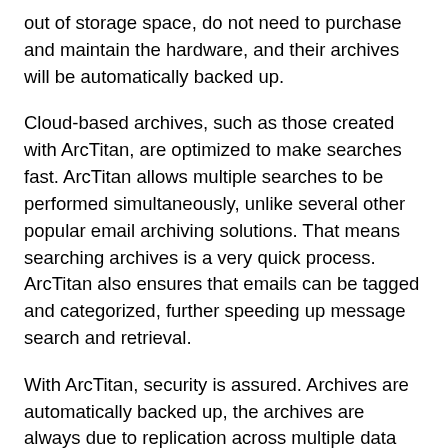out of storage space, do not need to purchase and maintain the hardware, and their archives will be automatically backed up.
Cloud-based archives, such as those created with ArcTitan, are optimized to make searches fast. ArcTitan allows multiple searches to be performed simultaneously, unlike several other popular email archiving solutions. That means searching archives is a very quick process. ArcTitan also ensures that emails can be tagged and categorized, further speeding up message search and retrieval.
With ArcTitan, security is assured. Archives are automatically backed up, the archives are always due to replication across multiple data centers, and controls can be applied to restrict access to only the individuals who need to access the archives to prevent external cyberattacks and insider incidents. In the event of a ransomware attack, all emails stored in the cloud